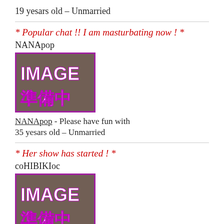19 yesars old – Unmarried
* Popular chat !! I am masturbating now ! *
NANApop
[Figure (photo): Image placeholder with purple border showing 'IMAGE 準備中' text over a blurred background photo]
NANApop - Please have fun with
35 yesars old – Unmarried
* Her show has started ! *
coHIBIKIoc
[Figure (photo): Image placeholder with purple border showing 'IMAGE 準備中' text over a blurred background photo, partially visible]